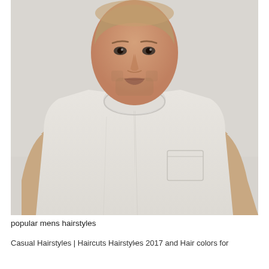[Figure (photo): Portrait photo of a young man with short light brown hair and stubble beard, wearing a light grey crew-neck pocket t-shirt and a thin necklace, photographed from chest up against a plain light grey/white background.]
popular mens hairstyles
Casual Hairstyles | Haircuts Hairstyles 2017 and Hair colors for